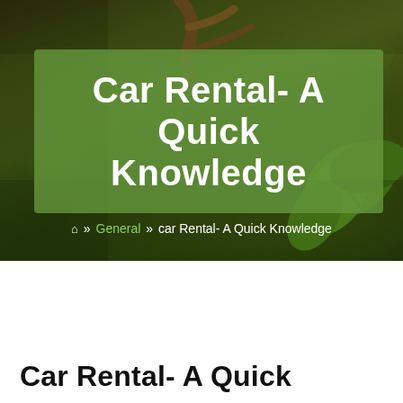[Figure (photo): Hero banner image showing close-up of green leaves and a branch with a blurred bokeh background in dark olive/green tones. A semi-transparent green box overlays the center with the page title.]
Car Rental- A Quick Knowledge
🏠 » General » car Rental- A Quick Knowledge
Car Rental- A Quick